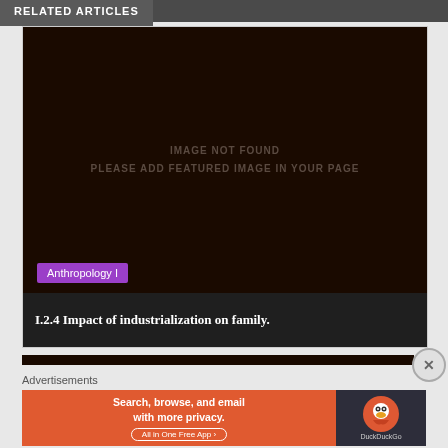RELATED ARTICLES
[Figure (other): Dark brown image placeholder with text 'IMAGE NOT FOUND PLEASE ADD FEATURED IMAGE IN YOUR PAGE', category badge 'Anthropology I', and title bar 'I.2.4 Impact of industrialization on family.']
I.2.4 Impact of industrialization on family.
Advertisements
[Figure (other): DuckDuckGo advertisement banner: 'Search, browse, and email with more privacy. All in One Free App' on orange background, with DuckDuckGo logo on dark background.]